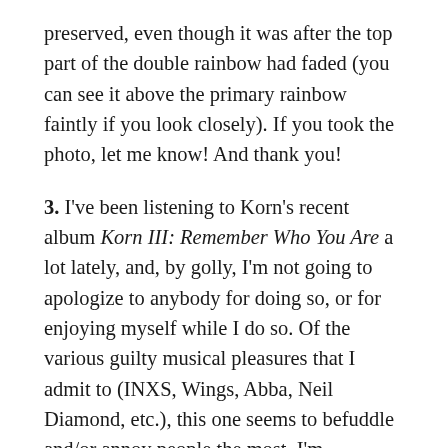preserved, even though it was after the top part of the double rainbow had faded (you can see it above the primary rainbow faintly if you look closely). If you took the photo, let me know! And thank you!
3. I've been listening to Korn's recent album Korn III: Remember Who You Are a lot lately, and, by golly, I'm not going to apologize to anybody for doing so, or for enjoying myself while I do so. Of the various guilty musical pleasures that I admit to (INXS, Wings, Abba, Neil Diamond, etc.), this one seems to befuddle and/or annoy people the most. I'm assuming it's because of the maggoty collective persona that the band has build around itself over the years, or the creepiness of someone close to my own age singing lyrics that would better fit in a 14-year old boy's secret journal. I